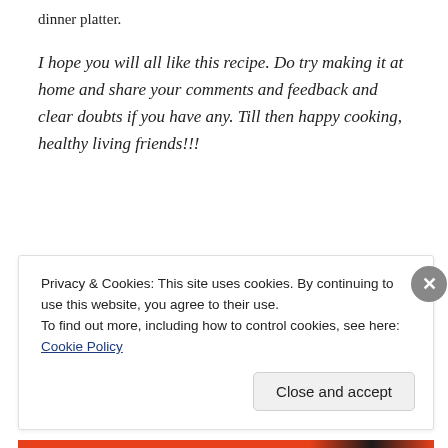dinner platter.
I hope you will all like this recipe. Do try making it at home and share your comments and feedback and clear doubts if you have any. Till then happy cooking, healthy living friends!!!
Privacy & Cookies: This site uses cookies. By continuing to use this website, you agree to their use.
To find out more, including how to control cookies, see here: Cookie Policy
Close and accept